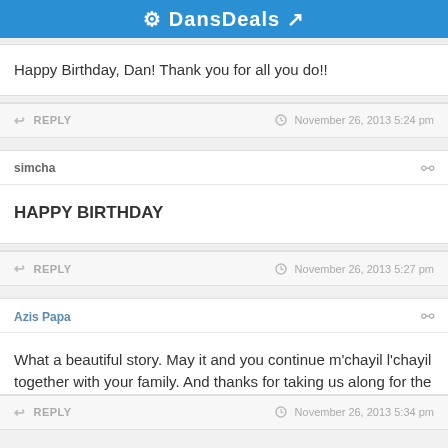DansDeals
Happy Birthday, Dan! Thank you for all you do!!
↩ REPLY   🕐 November 26, 2013 5:24 pm
simcha
HAPPY BIRTHDAY
↩ REPLY   🕐 November 26, 2013 5:27 pm
Azis Papa
What a beautiful story. May it and you continue m'chayil l'chayil together with your family. And thanks for taking us along for the ride. Happy Birthday!
↩ REPLY   🕐 November 26, 2013 5:34 pm